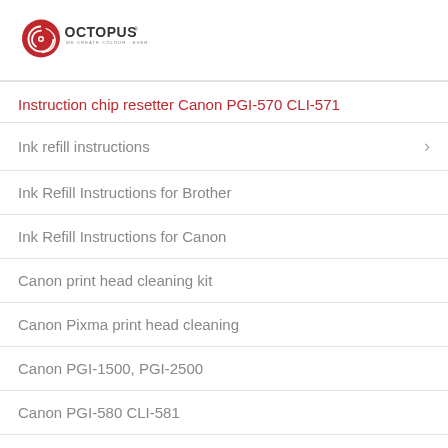[Figure (logo): Octopus logo with red spiral emblem and text 'OCTOPUS - WE CREATE COLOUR · EVERYDAY']
Instruction chip resetter Canon PGI-570 CLI-571
Ink refill instructions
Ink Refill Instructions for Brother
Ink Refill Instructions for Canon
Canon print head cleaning kit
Canon Pixma print head cleaning
Canon PGI-1500, PGI-2500
Canon PGI-580 CLI-581
Canon PGI-570, CLI-571